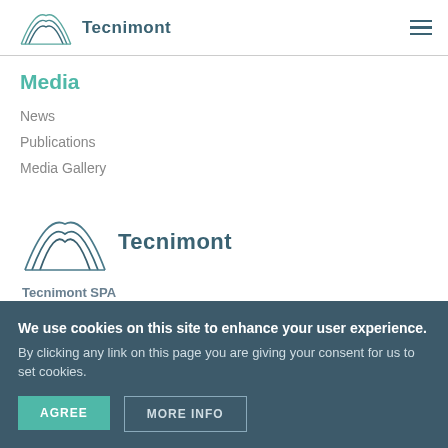[Figure (logo): Tecnimont logo with arched lines and company name in header]
Media
News
Publications
Media Gallery
[Figure (logo): Tecnimont logo with arched lines and company name in body]
Tecnimont SPA
We use cookies on this site to enhance your user experience.
By clicking any link on this page you are giving your consent for us to set cookies.
AGREE
MORE INFO